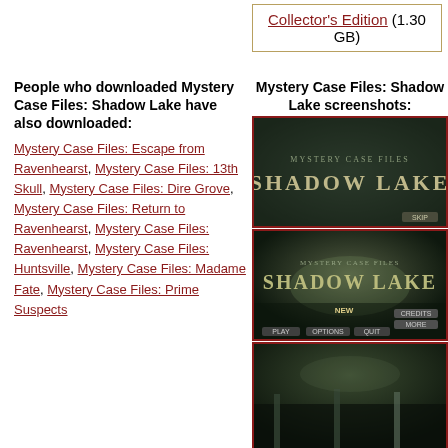Collector's Edition (1.30 GB)
People who downloaded Mystery Case Files: Shadow Lake have also downloaded: Mystery Case Files: Escape from Ravenhearst, Mystery Case Files: 13th Skull, Mystery Case Files: Dire Grove, Mystery Case Files: Return to Ravenhearst, Mystery Case Files: Ravenhearst, Mystery Case Files: Huntsville, Mystery Case Files: Madame Fate, Mystery Case Files: Prime Suspects
Mystery Case Files: Shadow Lake screenshots:
[Figure (screenshot): Screenshot 1 of Mystery Case Files: Shadow Lake game title screen with dark green misty background]
[Figure (screenshot): Screenshot 2 of Mystery Case Files: Shadow Lake main menu with dock and foggy lake background]
[Figure (screenshot): Screenshot 3 of Mystery Case Files: Shadow Lake partial view with dark foggy outdoor scene]